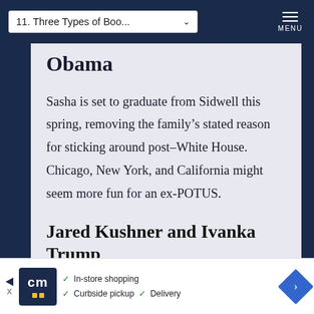11. Three Types of Boo...
Obama
Sasha is set to graduate from Sidwell this spring, removing the family's stated reason for sticking around post–White House. Chicago, New York, and California might seem more fun for an ex-POTUS.
Jared Kushner and Ivanka Trump
[Figure (other): Advertisement banner with logo 'cm', checkmarks for In-store shopping, Curbside pickup, Delivery, and a blue diamond arrow icon]